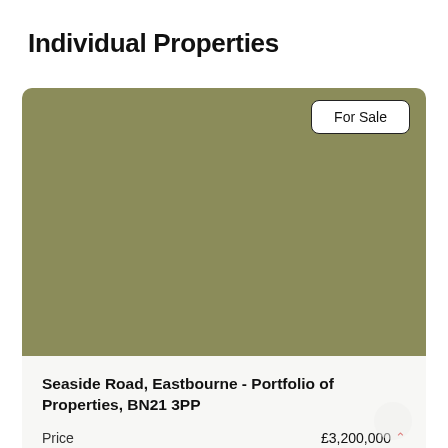Individual Properties
[Figure (photo): Property image placeholder shown as olive/khaki green rectangle]
For Sale
Seaside Road, Eastbourne - Portfolio of Properties, BN21 3PP
Price  £3,200,000